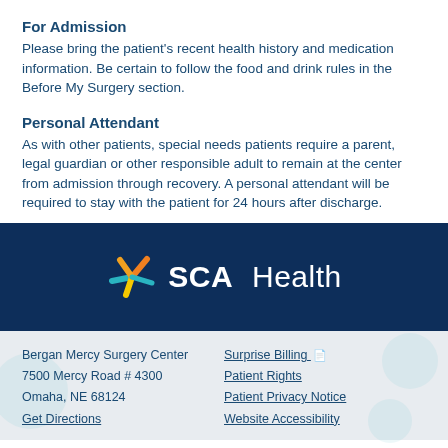For Admission
Please bring the patient's recent health history and medication information. Be certain to follow the food and drink rules in the Before My Surgery section.
Personal Attendant
As with other patients, special needs patients require a parent, legal guardian or other responsible adult to remain at the center from admission through recovery. A personal attendant will be required to stay with the patient for 24 hours after discharge.
[Figure (logo): SCA Health logo with colorful star/asterisk mark on dark navy background]
Bergan Mercy Surgery Center
7500 Mercy Road # 4300
Omaha, NE 68124
Get Directions
Surprise Billing
Patient Rights
Patient Privacy Notice
Website Accessibility